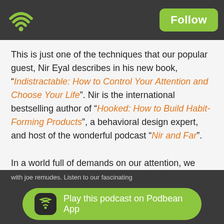[Figure (logo): Podbean podcast app WiFi/radio wave icon in green on dark grey top bar]
This is just one of the techniques that our popular guest, Nir Eyal describes in his new book, “Indistractable: How to Control Your Attention and Choose Your Life”. Nir is the international bestselling author of “Hooked: How to Build Habit-Forming Products”, a behavioral design expert, and host of the wonderful podcast “Nir and Far”.
In a world full of demands on our attention, we may think that getting distracted is a recent phenomenon and blame our technology use. But in this episode, Nir describes how getting
with joe remudes. Listen to our fascinating